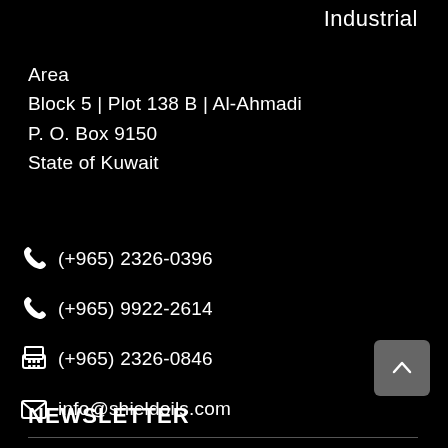Industrial
Area
Block 5 | Plot 138 B | Al-Ahmadi
P. O. Box 9150
State of Kuwait
(+965) 2326-0396
(+965) 9922-2614
(+965) 2326-0846
info@shieldoils.com
NEWSLETTER